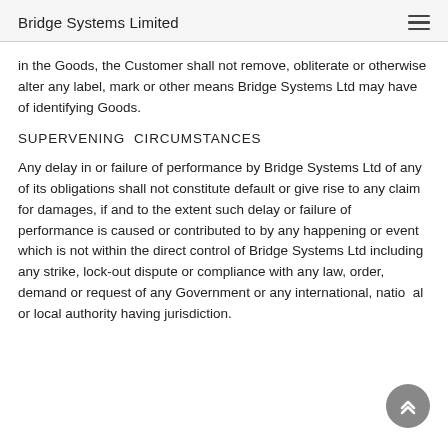Bridge Systems Limited
in the Goods, the Customer shall not remove, obliterate or otherwise alter any label, mark or other means Bridge Systems Ltd may have of identifying Goods.
SUPERVENING CIRCUMSTANCES
Any delay in or failure of performance by Bridge Systems Ltd of any of its obligations shall not constitute default or give rise to any claim for damages, if and to the extent such delay or failure of performance is caused or contributed to by any happening or event which is not within the direct control of Bridge Systems Ltd including any strike, lock-out dispute or compliance with any law, order, demand or request of any Government or any international, national or local authority having jurisdiction.